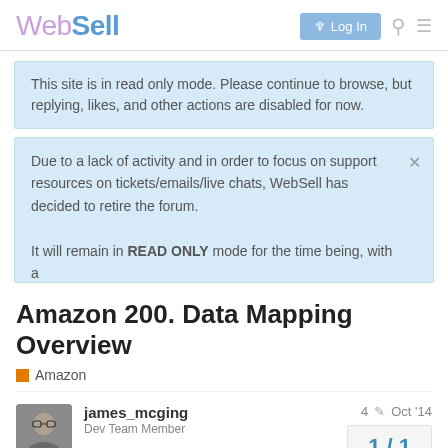WebSell — Log In
This site is in read only mode. Please continue to browse, but replying, likes, and other actions are disabled for now.
Due to a lack of activity and in order to focus on support resources on tickets/emails/live chats, WebSell has decided to retire the forum.

It will remain in READ ONLY mode for the time being, with a
Amazon 200. Data Mapping Overview
Amazon
james_mcging
Dev Team Member
4  Oct '14
1 / 1
Amazon Article Index